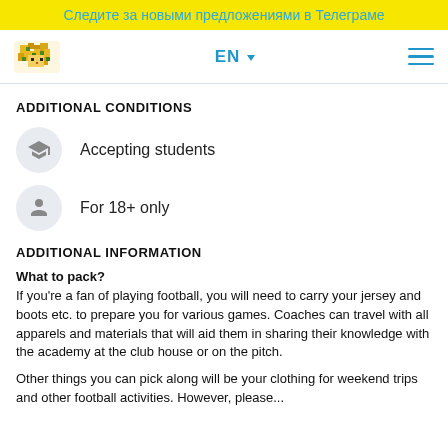Следите за новыми предложениями в Телеграме
[Figure (logo): Pixel art lion/cheetah logo in yellow and green]
ADDITIONAL CONDITIONS
Accepting students
For 18+ only
ADDITIONAL INFORMATION
What to pack?
If you're a fan of playing football, you will need to carry your jersey and boots etc. to prepare you for various games. Coaches can travel with all apparels and materials that will aid them in sharing their knowledge with the academy at the club house or on the pitch.
Other things you can pick along will be your clothing for weekend trips and other football activities. However, please...